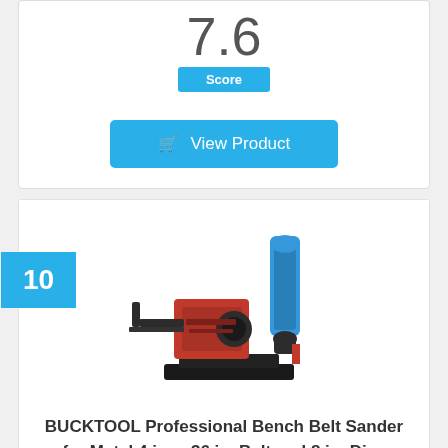7.6
Score
View Product
10
[Figure (photo): BUCKTOOL bench belt and disc sander combo machine, red and black, with blue sanding belt vertical attachment]
BUCKTOOL Professional Bench Belt Sander for Metal 4 in. x 36 in. Belt and 8 in. Disc Sander with 1HP Direct-drive Motor, BD4802
7.4